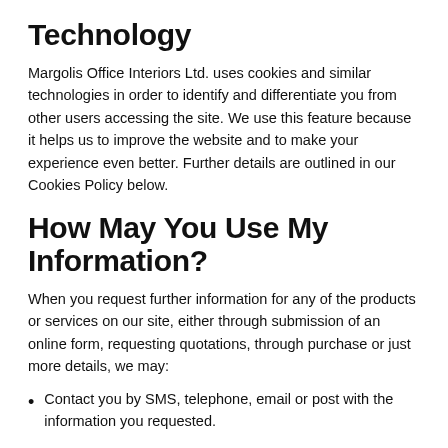Technology
Margolis Office Interiors Ltd. uses cookies and similar technologies in order to identify and differentiate you from other users accessing the site. We use this feature because it helps us to improve the website and to make your experience even better. Further details are outlined in our Cookies Policy below.
How May You Use My Information?
When you request further information for any of the products or services on our site, either through submission of an online form, requesting quotations, through purchase or just more details, we may:
Contact you by SMS, telephone, email or post with the information you requested.